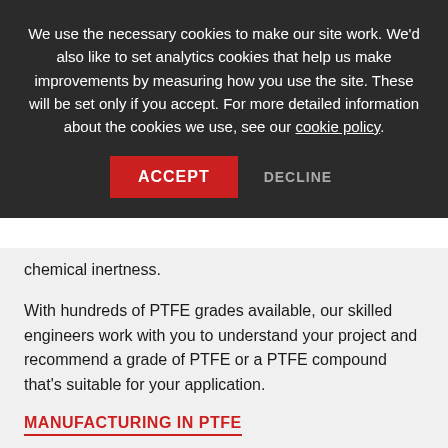We use the necessary cookies to make our site work. We'd also like to set analytics cookies that help us make improvements by measuring how you use the site. These will be set only if you accept. For more detailed information about the cookies we use, see our cookie policy.
ACCEPT   DECLINE
chemical inertness.
With hundreds of PTFE grades available, our skilled engineers work with you to understand your project and recommend a grade of PTFE or a PTFE compound that's suitable for your application.
MANUFACTURING IN PTFE